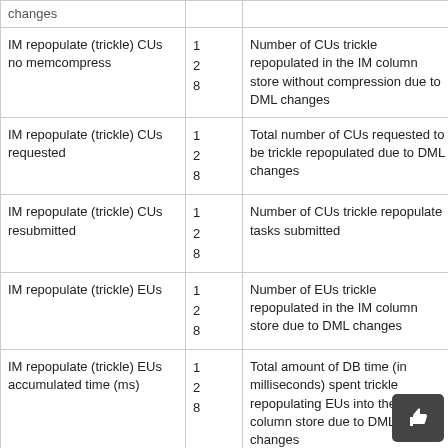| Statistic | Ver | Description |  |
| --- | --- | --- | --- |
| (partial - changes) |  |  |  |
| IM repopulate (trickle) CUs no memcompress | 1
2
8 | Number of CUs trickle repopulated in the IM column store without compression due to DML changes |  |
| IM repopulate (trickle) CUs requested | 1
2
8 | Total number of CUs requested to be trickle repopulated due to DML changes |  |
| IM repopulate (trickle) CUs resubmitted | 1
2
8 | Number of CUs trickle repopulate tasks submitted |  |
| IM repopulate (trickle) EUs | 1
2
8 | Number of EUs trickle repopulated in the IM column store due to DML changes |  |
| IM repopulate (trickle) EUs accumulated time (ms) | 1
2
8 | Total amount of DB time (in milliseconds) spent trickle repopulating EUs into the IM column store due to DML changes |  |